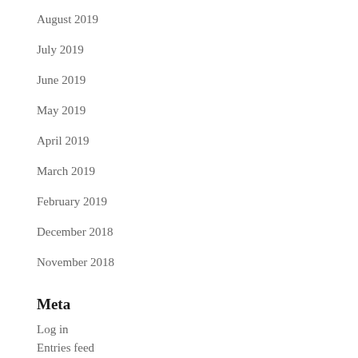August 2019
July 2019
June 2019
May 2019
April 2019
March 2019
February 2019
December 2018
November 2018
Meta
Log in
Entries feed
Comments feed
WordPress.org